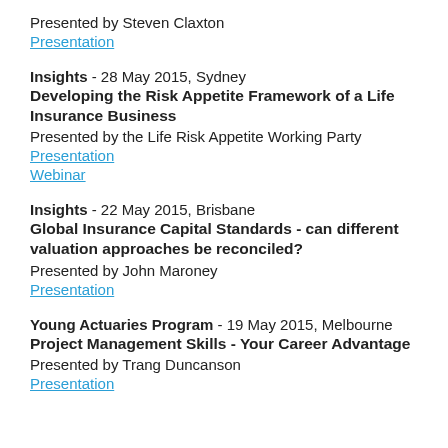Presented by Steven Claxton
Presentation
Insights - 28 May 2015, Sydney
Developing the Risk Appetite Framework of a Life Insurance Business
Presented by the Life Risk Appetite Working Party
Presentation
Webinar
Insights - 22 May 2015, Brisbane
Global Insurance Capital Standards - can different valuation approaches be reconciled?
Presented by John Maroney
Presentation
Young Actuaries Program - 19 May 2015, Melbourne
Project Management Skills - Your Career Advantage
Presented by Trang Duncanson
Presentation